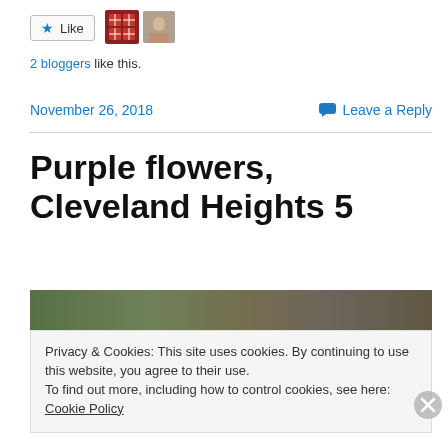[Figure (other): Like button with star icon and two avatar thumbnails (quilt pattern and person photo)]
2 bloggers like this.
November 26, 2018    Leave a Reply
Purple flowers, Cleveland Heights 5
[Figure (photo): Partial garden/flower photo strip, blurred]
Privacy & Cookies: This site uses cookies. By continuing to use this website, you agree to their use.
To find out more, including how to control cookies, see here: Cookie Policy
Close and accept